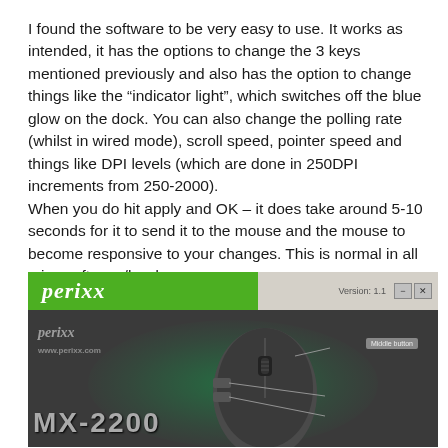I found the software to be very easy to use. It works as intended, it has the options to change the 3 keys mentioned previously and also has the option to change things like the “indicator light”, which switches off the blue glow on the dock. You can also change the polling rate (whilst in wired mode), scroll speed, pointer speed and things like DPI levels (which are done in 250DPI increments from 250-2000).
When you do hit apply and OK – it does take around 5-10 seconds for it to send it to the mouse and the mouse to become responsive to your changes. This is normal in all mice software/hardware.
[Figure (screenshot): Screenshot of Perixx MX-2200 mouse configuration software showing a gaming mouse with labeled buttons (Middle button, 4th button, 5th button) on a dark background with green glow effect. The Perixx branding appears in a green header bar at the top left.]